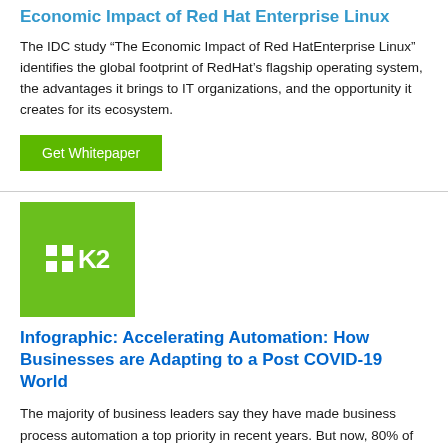Economic Impact of Red Hat Enterprise Linux
The IDC study “The Economic Impact of Red HatEnterprise Linux” identifies the global footprint of RedHat’s flagship operating system, the advantages it brings to IT organizations, and the opportunity it creates for its ecosystem.
Get Whitepaper
[Figure (logo): K2 logo: green square background with grid of 4 white squares and K2 text in white]
Infographic: Accelerating Automation: How Businesses are Adapting to a Post COVID-19 World
The majority of business leaders say they have made business process automation a top priority in recent years. But now, 80% of business leaders say they face new challenges as a direct result of